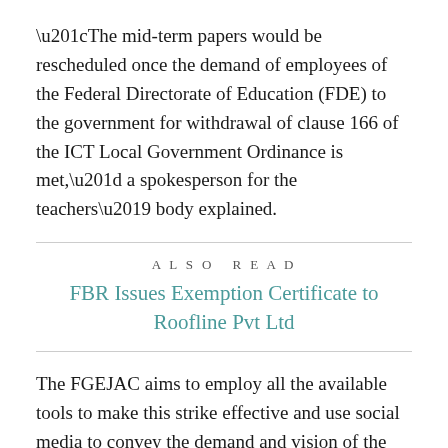“The mid-term papers would be rescheduled once the demand of employees of the Federal Directorate of Education (FDE) to the government for withdrawal of clause 166 of the ICT Local Government Ordinance is met,” a spokesperson for the teachers’ body explained.
ALSO READ
FBR Issues Exemption Certificate to Roofline Pvt Ltd
The FGEJAC aims to employ all the available tools to make this strike effective and use social media to convey the demand and vision of the protestors.